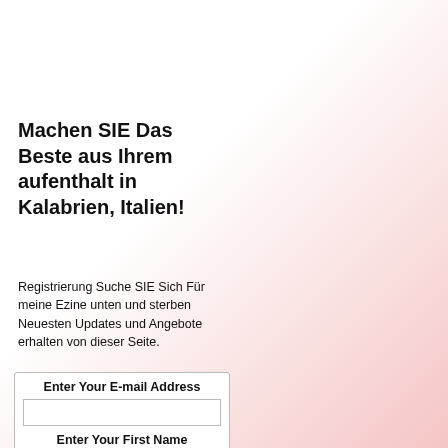Machen SIE Das Beste aus Ihrem aufenthalt in Kalabrien, Italien!
Registrierung Suche SIE Sich Für meine Ezine unten und sterben Neuesten Updates und Angebote erhalten von dieser Seite.
Enter Your E-mail Address
Enter Your First Name (optional)
Then
Subscribe
Don't worry — your e-mail address is totally secure.
I promise to use it only to send you
Lamezia Terme is a beautiful town in the Province of the Calabrian region. It is sandwiched between the mountains and the Tyrrenhian Coast.
The beautiful historic town, formed from the union of three soaked beaches and secluded bays and grottos... ancient city is proud of its historical legacy ar...